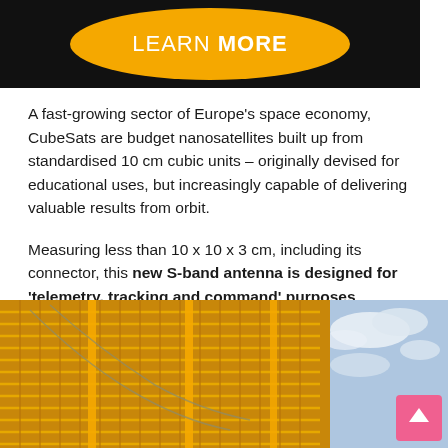[Figure (illustration): Dark background banner with orange oval/ellipse shape containing the text LEARN MORE in white uppercase letters]
A fast-growing sector of Europe's space economy, CubeSats are budget nanosatellites built up from standardised 10 cm cubic units – originally devised for educational uses, but increasingly capable of delivering valuable results from orbit.
Measuring less than 10 x 10 x 3 cm, including its connector, this new S-band antenna is designed for 'telemetry, tracking and command' purposes, meaning it will be used for uplinking commands to a CubeSat and downlinking platform and payload data.
[Figure (photo): Close-up photo of a satellite solar panel array with yellow/gold grid pattern against a blue sky with clouds background]